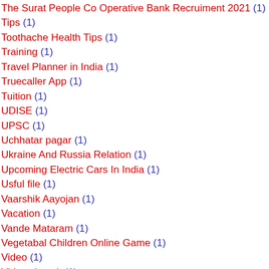The Surat People Co Operative Bank Recruiment 2021 (1)
Tips (1)
Toothache Health Tips (1)
Training (1)
Travel Planner in India (1)
Truecaller App (1)
Tuition (1)
UDISE (1)
UPSC (1)
Uchhatar pagar (1)
Ukraine And Russia Relation (1)
Upcoming Electric Cars In India (1)
Usful file (1)
Vaarshik Aayojan (1)
Vacation (1)
Vande Mataram (1)
Vegetabal Children Online Game (1)
Video (1)
Vidya shayak (1)